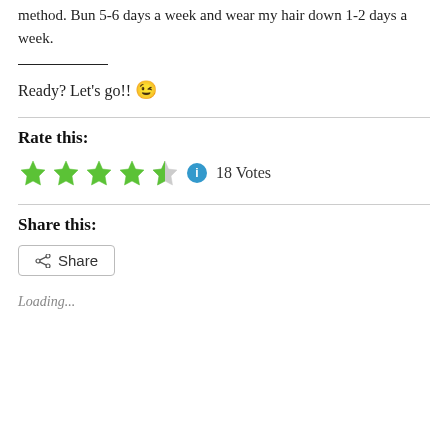method. Bun 5-6 days a week and wear my hair down 1-2 days a week.
Ready? Let's go!! 😉
Rate this:
[Figure (other): 4.5 out of 5 stars rating widget with info icon, showing 18 Votes]
Share this:
[Figure (other): Share button with share icon]
Loading...